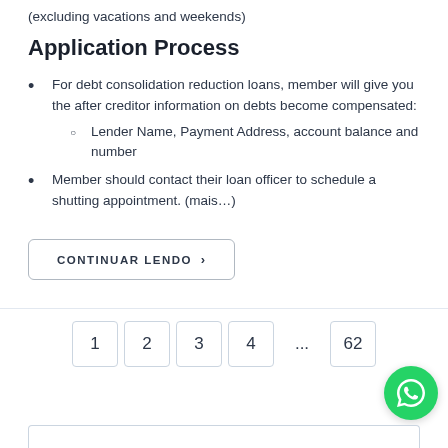(excluding vacations and weekends)
Application Process
For debt consolidation reduction loans, member will give you the after creditor information on debts become compensated:
Lender Name, Payment Address, account balance and number
Member should contact their loan officer to schedule a shutting appointment. (mais…)
CONTINUAR LENDO ›
1  2  3  4  ...  62